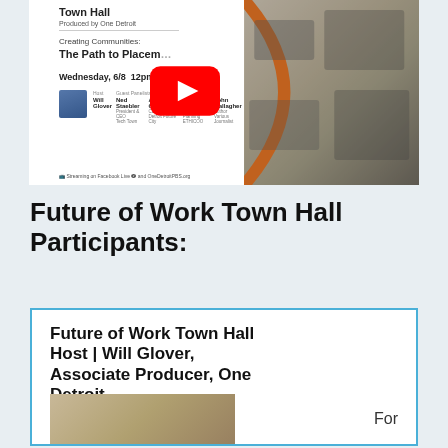[Figure (screenshot): YouTube thumbnail for Future of Work Town Hall produced by One Detroit. Shows text: 'Creating Communities: The Path to Placem...' Wednesday, 6/8 12pm Noon. Host Will Glover and guest panelists Ned Staebler, Anika Goss, Kevin Vantreino, John Gallagher. Streaming on Facebook Live and OneDetroitPBS.org. Right side shows street traffic photo with orange arc. YouTube play button overlay in center.]
Future of Work Town Hall Participants:
Future of Work Town Hall Host | Will Glover, Associate Producer, One Detroit
For